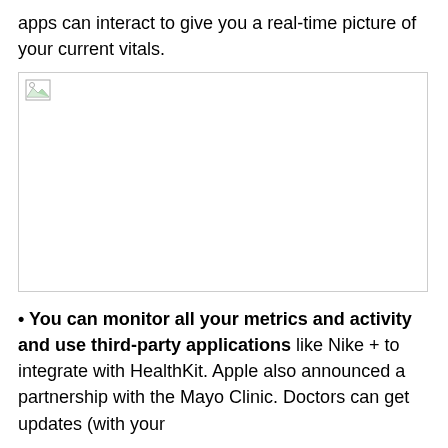apps can interact to give you a real-time picture of your current vitals.
[Figure (other): Broken/missing image placeholder with a small broken image icon in the top-left corner]
• You can monitor all your metrics and activity and use third-party applications like Nike + to integrate with HealthKit. Apple also announced a partnership with the Mayo Clinic. Doctors can get updates (with your